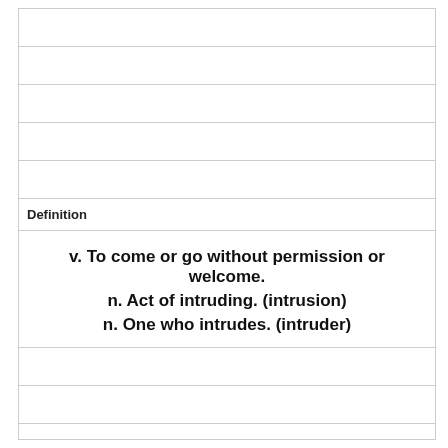Definition
v. To come or go without permission or welcome.
n. Act of intruding. (intrusion)
n. One who intrudes. (intruder)
Term
locate